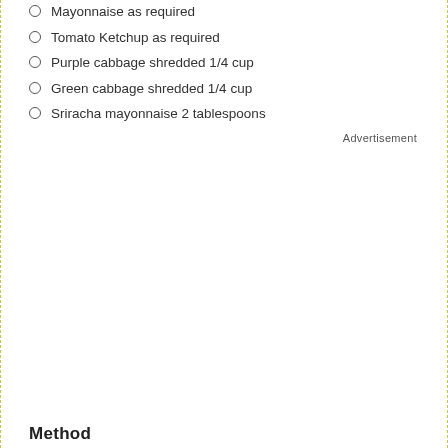Mayonnaise as required
Tomato Ketchup as required
Purple cabbage shredded 1/4 cup
Green cabbage shredded 1/4 cup
Sriracha mayonnaise 2 tablespoons
Advertisement
[Figure (other): Featured Recipes widget showing 'How to make Paneer Tikka Masala Bunny Chow, recipe by MasterChef Sanjeev Kapoor' with a blue sidebar label 'FEATURED RECIPES' and a close button]
Method